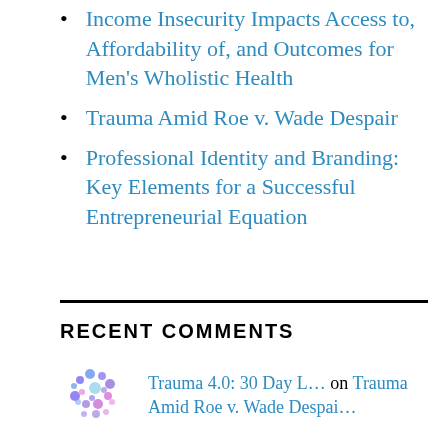Income Insecurity Impacts Access to, Affordability of, and Outcomes for Men's Wholistic Health
Trauma Amid Roe v. Wade Despair
Professional Identity and Branding: Key Elements for a Successful Entrepreneurial Equation
RECENT COMMENTS
Trauma 4.0: 30 Day L… on Trauma Amid Roe v. Wade Despai…
Income Insecurity Im… on The Impact of Trauma and Syste…